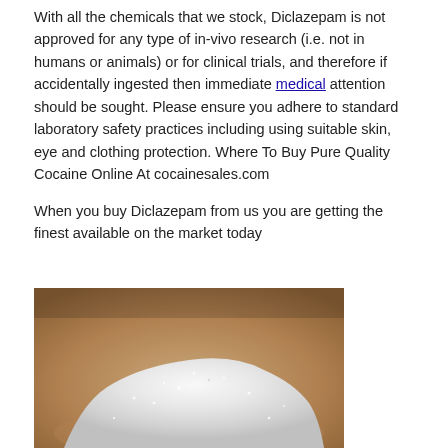With all the chemicals that we stock, Diclazepam is not approved for any type of in-vivo research (i.e. not in humans or animals) or for clinical trials, and therefore if accidentally ingested then immediate medical attention should be sought. Please ensure you adhere to standard laboratory safety practices including using suitable skin, eye and clothing protection. Where To Buy Pure Quality Cocaine Online At cocainesales.com
When you buy Diclazepam from us you are getting the finest available on the market today
[Figure (photo): Close-up photograph of a pile of white crystalline powder on a brown surface]